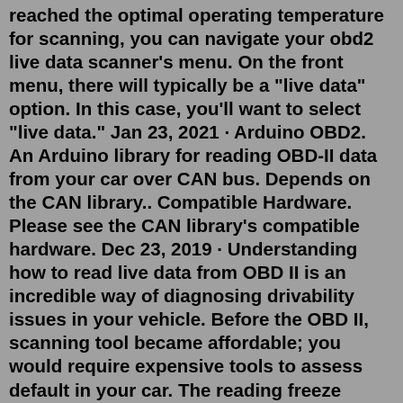reached the optimal operating temperature for scanning, you can navigate your obd2 live data scanner's menu. On the front menu, there will typically be a "live data" option. In this case, you'll want to select "live data." Jan 23, 2021 · Arduino OBD2. An Arduino library for reading OBD-II data from your car over CAN bus. Depends on the CAN library.. Compatible Hardware. Please see the CAN library's compatible hardware. Dec 23, 2019 · Understanding how to read live data from OBD II is an incredible way of diagnosing drivability issues in your vehicle. Before the OBD II, scanning tool became affordable; you would require expensive tools to assess default in your car. The reading freeze frame will highly depend on the type of OBB2 scanner you are using. What are OBD2 Codes︎ On-Board-Diagnostic (OBD) Trouble Codes are one way your vehicle reports self-diagnostic results. When the system identifies an issue, it turns on the check engine light and provides real-time data in addition to a standardized series of Diagnostic Trouble Codes (or